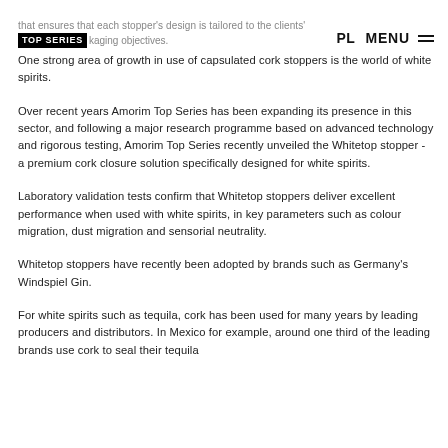that ensures that each stopper's design is tailored to the clients' TOP SERIES kaging objectives.  PL  MENU
One strong area of growth in use of capsulated cork stoppers is the world of white spirits.
Over recent years Amorim Top Series has been expanding its presence in this sector, and following a major research programme based on advanced technology and rigorous testing, Amorim Top Series recently unveiled the Whitetop stopper - a premium cork closure solution specifically designed for white spirits.
Laboratory validation tests confirm that Whitetop stoppers deliver excellent performance when used with white spirits, in key parameters such as colour migration, dust migration and sensorial neutrality.
Whitetop stoppers have recently been adopted by brands such as Germany's Windspiel Gin.
For white spirits such as tequila, cork has been used for many years by leading producers and distributors. In Mexico for example, around one third of the leading brands use cork to seal their tequila